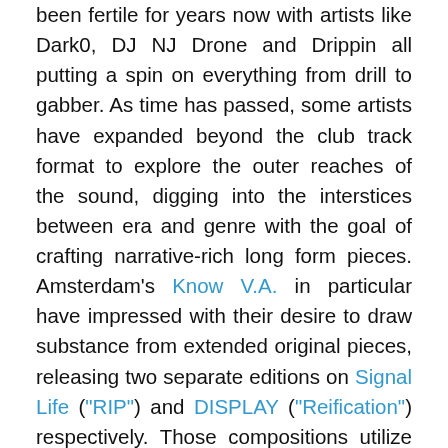been fertile for years now with artists like Dark0, DJ NJ Drone and Drippin all putting a spin on everything from drill to gabber. As time has passed, some artists have expanded beyond the club track format to explore the outer reaches of the sound, digging into the interstices between era and genre with the goal of crafting narrative-rich long form pieces. Amsterdam's Know V.A. in particular have impressed with their desire to draw substance from extended original pieces, releasing two separate editions on Signal Life ("RIP") and DISPLAY ("Reification") respectively. Those compositions utilize familiar forms (grime synths, 808s, trance riffs, dembow arrangements), but push towards abstraction, allowing reproducible tropes to extrapolate over a wider space. At times, the releases come across as a standard mixtape as tempos and energy is revved up, but the peaks and valleys of both tapes are